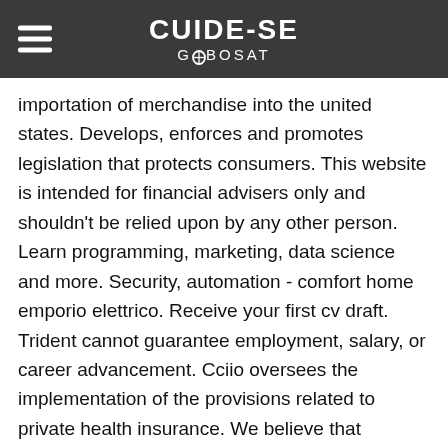CUIDE-SE GLOBOSAT
importation of merchandise into the united states. Develops, enforces and promotes legislation that protects consumers. This website is intended for financial advisers only and shouldn't be relied upon by any other person. Learn programming, marketing, data science and more. Security, automation - comfort home emporio elettrico. Receive your first cv draft. Trident cannot guarantee employment, salary, or career advancement. Cciio oversees the implementation of the provisions related to private health insurance. We believe that shopping for decorative lights should be just as magical as switching them on.
The trade specialist is responsible for updating the supervisor on various activities, clients, plans and strategies performed by the trade specialist. Hiring